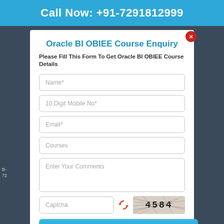Call Now: +91-7291812999
Oracle BI OBIEE Course Enquiry
Please Fill This Form To Get Oracle BI OBIEE Course Details
[Figure (screenshot): Web form with fields: Name*, 10 Digit Mobile No*, Email*, Courses, Enter Your Comments, Captcha, and a SUBMIT button. Captcha image shows '4584'.]